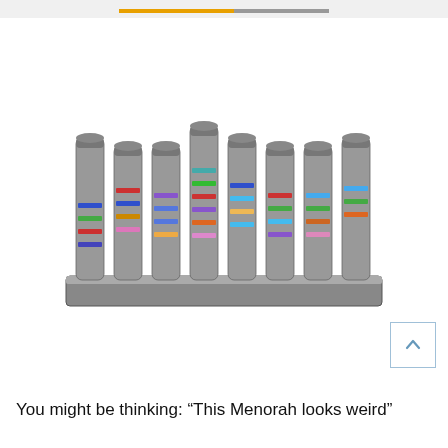[Figure (photo): A silver/nickel-plated Hanukkah menorah (Chanukiah) with 8 cylindrical candle holders mounted on a rectangular base. Each candle holder is decorated with colorful horizontal stripes in various colors including blue, red, green, orange, purple, and teal.]
You might be thinking: “This Menorah looks weird”